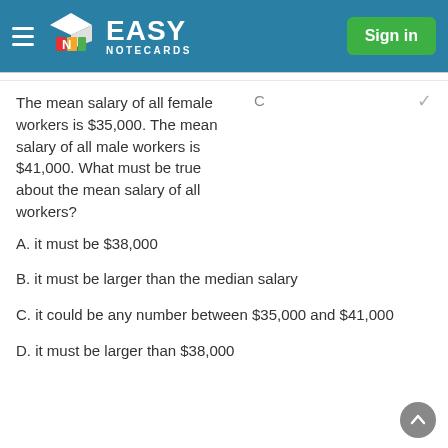EASY NOTECARDS
The mean salary of all female workers is $35,000. The mean salary of all male workers is $41,000. What must be true about the mean salary of all workers?
C
A. it must be $38,000
B. it must be larger than the median salary
C. it could be any number between $35,000 and $41,000
D. it must be larger than $38,000